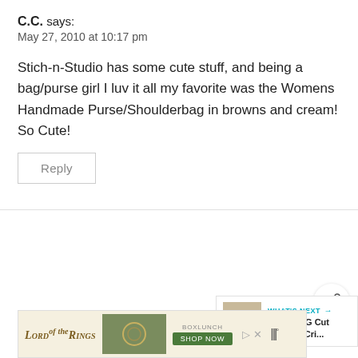C.C. says:
May 27, 2010 at 10:17 pm
Stich-n-Studio has some cute stuff, and being a bag/purse girl I luv it all my favorite was the Womens Handmade Purse/Shoulderbag in browns and cream! So Cute!
Reply
[Figure (other): Share button icon]
[Figure (other): What's Next panel with FREE SVG Cut Files for Cri...]
C.C. says:
May 27, 2010 at 10:18 pm
[Figure (other): Lord of the Rings advertisement banner with BoxLunch shop now button]